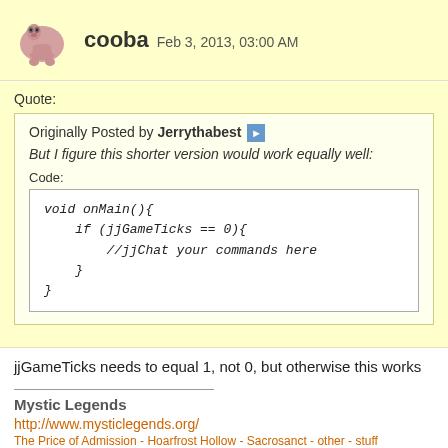cooba  Feb 3, 2013, 03:00 AM
Quote:
Originally Posted by Jerrythabest
But I figure this shorter version would work equally well:
Code:
void onMain(){
    if (jjGameTicks == 0){
        //jjChat your commands here
    }
}
jjGameTicks needs to equal 1, not 0, but otherwise this works
Mystic Legends
http://www.mysticlegends.org/
The Price of Admission - Hoarfrost Hollow - Sacrosanct - other - stuff